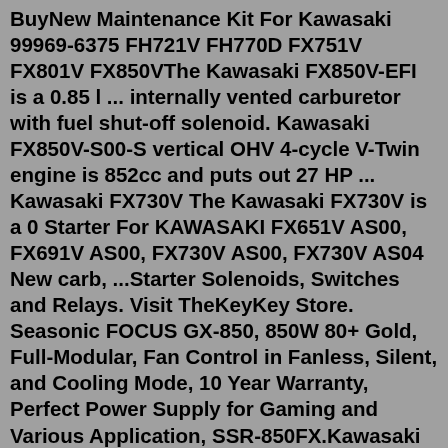BuyNew Maintenance Kit For Kawasaki 99969-6375 FH721V FH770D FX751V FX801V FX850VThe Kawasaki FX850V-EFI is a 0.85 l ... internally vented carburetor with fuel shut-off solenoid. Kawasaki FX850V-S00-S vertical OHV 4-cycle V-Twin engine is 852cc and puts out 27 HP ... Kawasaki FX730V The Kawasaki FX730V is a 0 Starter For KAWASAKI FX651V AS00, FX691V AS00, FX730V AS00, FX730V AS04 New carb, ...Starter Solenoids, Switches and Relays. Visit TheKeyKey Store. Seasonic FOCUS GX-850, 850W 80+ Gold, Full-Modular, Fan Control in Fanless, Silent, and Cooling Mode, 10 Year Warranty, Perfect Power Supply for Gaming and Various Application, SSR-850FX.Kawasaki Engines. FX850V-MS00-S. WARNING: This product may contain chemicals known to the State of California to cause cancer, birth defects and other reproductive harm. For more information, go to www.P65Warnings.ca.gov . ... internally vented carburetor with fuel shut-off solenoid Spherical combustion chambers. ...Air Filter, Inner. Fits